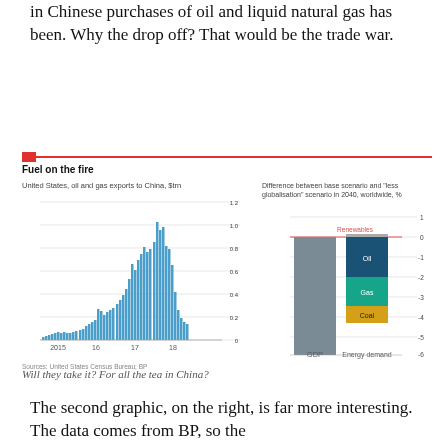in Chinese purchases of oil and liquid natural gas has been. Why the drop off? That would be the trade war.
[Figure (bar-chart): Fuel on the fire]
[Figure (stacked-bar-chart): Difference between base scenario and "less globalisation" scenario in 2040, worldwide, %]
Will they take it? For all the tea in China?
The second graphic, on the right, is far more interesting. The data comes from BP, so the